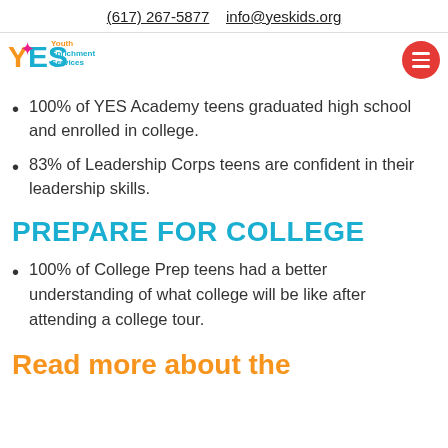(617) 267-5877    info@yeskids.org
[Figure (logo): YES Youth Enrichment Services logo with orange Y, blue E and S, pink star, and subtitle text]
100% of YES Academy teens graduated high school and enrolled in college.
83% of Leadership Corps teens are confident in their leadership skills.
PREPARE FOR COLLEGE
100% of College Prep teens had a better understanding of what college will be like after attending a college tour.
Read more about the